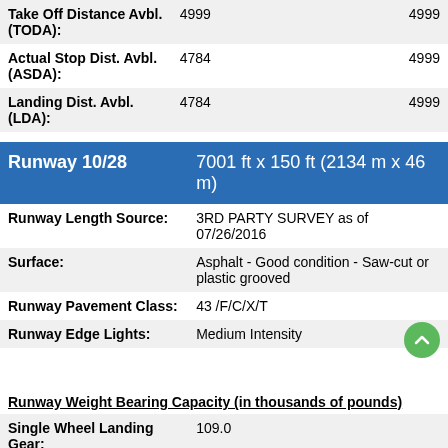| Field | Value1 | Value2 |
| --- | --- | --- |
| Take Off Distance Avbl. (TODA): | 4999 | 4999 |
| Actual Stop Dist. Avbl. (ASDA): | 4784 | 4999 |
| Landing Dist. Avbl. (LDA): | 4784 | 4999 |
| Runway | Dimensions |
| --- | --- |
| Runway 10/28 | 7001 ft x 150 ft (2134 m x 46 m) |
| Runway Length Source: | 3RD PARTY SURVEY as of 07/26/2016 |
| Surface: | Asphalt - Good condition - Saw-cut or plastic grooved |
| Runway Pavement Class: | 43 /F/C/X/T |
| Runway Edge Lights: | Medium Intensity |
Runway Weight Bearing Capacity (in thousands of pounds)
| Type | Value |
| --- | --- |
| Single Wheel Landing Gear: | 109.0 |
| Dual Wheel Landing Gear: | 154.0 |